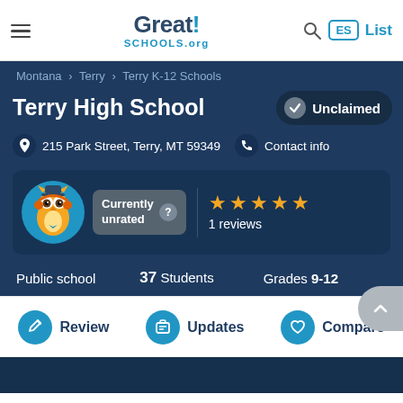Great! SCHOOLS.org — ES List
Montana > Terry > Terry K-12 Schools
Terry High School
Unclaimed
215 Park Street, Terry, MT 59349
Contact info
[Figure (infographic): Owl mascot with currently unrated badge and 5-star rating showing 1 reviews]
Public school   37 Students   Grades 9-12
Review   Updates   Compare